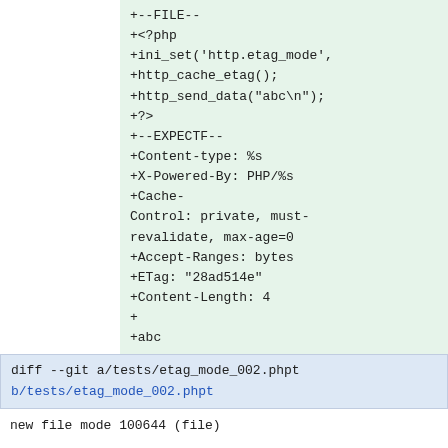+--FILE--
+<?php
+ini_set('http.etag_mode',
+http_cache_etag();
+http_send_data("abc\n");
+?>
+--EXPECTF--
+Content-type: %s
+X-Powered-By: PHP/%s
+Cache-Control: private, must-revalidate, max-age=0
+Accept-Ranges: bytes
+ETag: "28ad514e"
+Content-Length: 4
+
+abc
diff --git a/tests/etag_mode_002.phpt b/tests/etag_mode_002.phpt
new file mode 100644 (file)
index 0000000..229b22d